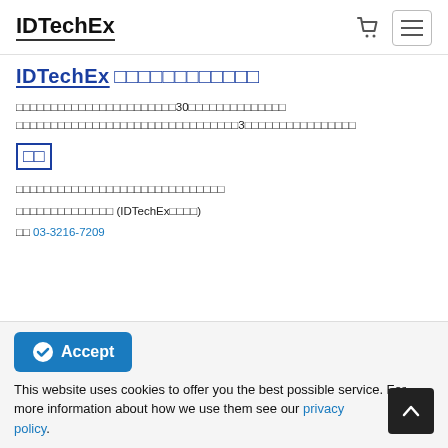IDTechEx
IDTechEx □□□□□□□□□□□□
□□□□□□□□□□□□□□□□□□30□□□□□□□□□□□ □□□□□□□□□□□□□□□□□□□□□□□□□3□□□□□□□□□□□□□□□□
□□
□□□□□□□□□□□□□□□□□□□□□□□□□□□□□□
□□□□□□□□□□□□□□ (IDTechEx□□□□)
□□ 03-3216-7209
This website uses cookies to offer you the best possible service. For more information about how we use them see our privacy policy.